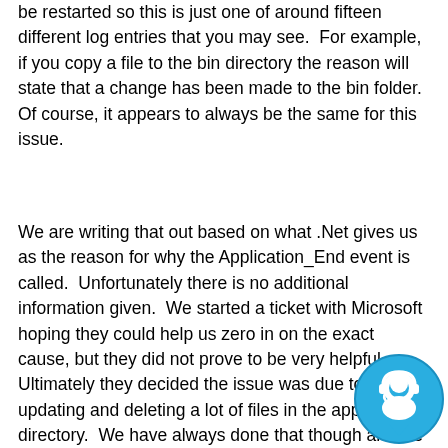be restarted so this is just one of around fifteen different log entries that you may see.  For example, if you copy a file to the bin directory the reason will state that a change has been made to the bin folder.  Of course, it appears to always be the same for this issue.
We are writing that out based on what .Net gives us as the reason for why the Application_End event is called.  Unfortunately there is no additional information given.  We started a ticket with Microsoft hoping they could help us zero in on the exact cause, but they did not prove to be very helpful.  Ultimately they decided the issue was due to writing, updating and deleting a lot of files in the app_data directory.  We have always done that though and we could not reproduce the issue according to this theory.  We created an app that does nothing but write, update and delete files in a specified directory and pointed that app to the app_data\logs, app_data\temp, mailprocessing folders for hours without a single application pool restart.  We did hundreds of thousands of file creations, updates and deletions to
[Figure (illustration): Blue circular chat/support icon with a headset agent figure in white, positioned in the bottom-right corner of the page.]